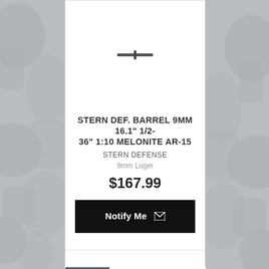[Figure (photo): Product listing card for Stern Defense barrel. Top product card showing white background image area, product title, brand, caliber, price, and Notify Me button. Second card shows Out of Stock badge and barrel product image.]
STERN DEF. BARREL 9MM 16.1" 1/2-36" 1:10 MELONITE AR-15
STERN DEFENSE
9mm Luger
$167.99
Notify Me
Out of Stock